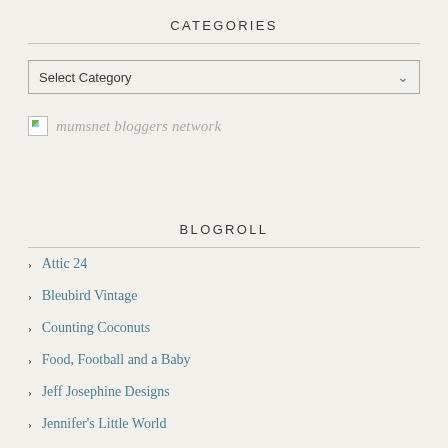CATEGORIES
Select Category
[Figure (other): Broken image placeholder for mumsnet bloggers network logo]
BLOGROLL
Attic 24
Bleubird Vintage
Counting Coconuts
Food, Football and a Baby
Jeff Josephine Designs
Jennifer's Little World